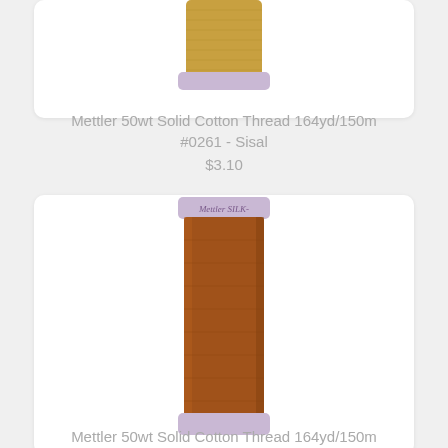[Figure (photo): Spool of golden/sisal colored Mettler thread with lavender cap, partially visible at top]
Mettler 50wt Solid Cotton Thread 164yd/150m #0261 - Sisal
$3.10
[Figure (photo): Spool of copper/penny colored Mettler Silk-Finish thread with lavender cap, full spool visible]
Mettler 50wt Solid Cotton Thread 164yd/150m #0262 - Penny